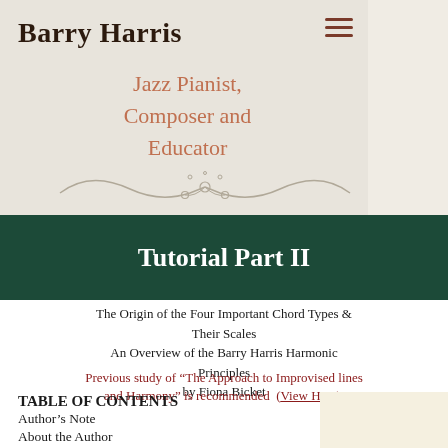Barry Harris
Jazz Pianist, Composer and Educator
[Figure (illustration): Decorative ornamental flourish divider with scrollwork and circles]
Tutorial Part II
The Origin of the Four Important Chord Types & Their Scales
An Overview of the Barry Harris Harmonic Principles
by Fiona Bicket
Previous study of “The Approach to Improvised lines and Harmony” is recommended  (View Here).
TABLE OF CONTENTS
Author’s Note
About the Author